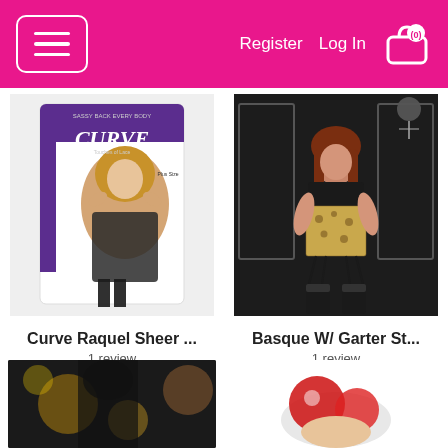Register  Log In  (0)
[Figure (photo): Packaged lingerie product – Curve Raquel Sheer, model on white background in product packaging]
[Figure (photo): Model wearing Basque W/ Garter St lingerie set on dark background]
Curve Raquel Sheer ...
1 review
$59.99
In stock
Basque W/ Garter St...
1 review
$44.99
In stock
[Figure (photo): Partial product photo – dark lingerie item, bottom of page, left column]
[Figure (photo): Partial product photo – red/white item, bottom of page, right column]